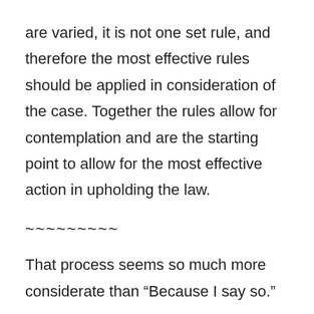are varied, it is not one set rule, and therefore the most effective rules should be applied in consideration of the case. Together the rules allow for contemplation and are the starting point to allow for the most effective action in upholding the law.
~~~~~~~~~
That process seems so much more considerate than “Because I say so.”
Quote: -Craig Gribble from Umpire Mangers